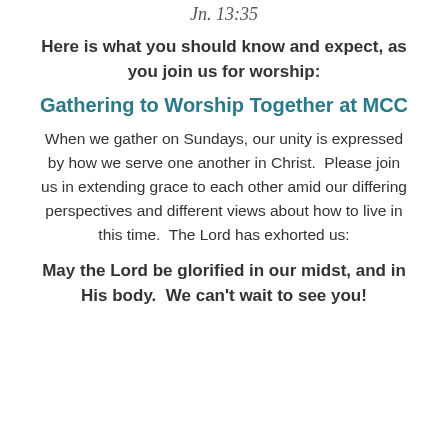Jn. 13:35
Here is what you should know and expect, as you join us for worship:
Gathering to Worship Together at MCC
When we gather on Sundays, our unity is expressed by how we serve one another in Christ.  Please join us in extending grace to each other amid our differing perspectives and different views about how to live in this time.  The Lord has exhorted us:
May the Lord be glorified in our midst, and in His body.  We can't wait to see you!